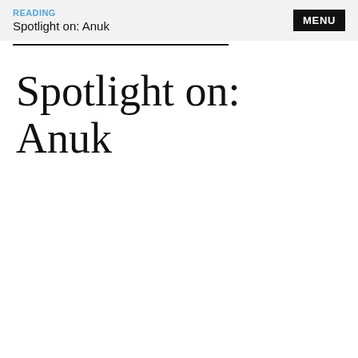READING
Spotlight on: Anuk
Spotlight on: Anuk